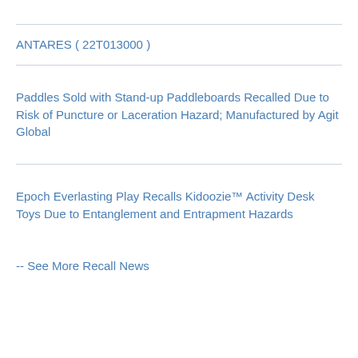ANTARES ( 22T013000 )
Paddles Sold with Stand-up Paddleboards Recalled Due to Risk of Puncture or Laceration Hazard; Manufactured by Agit Global
Epoch Everlasting Play Recalls Kidoozie™ Activity Desk Toys Due to Entanglement and Entrapment Hazards
-- See More Recall News